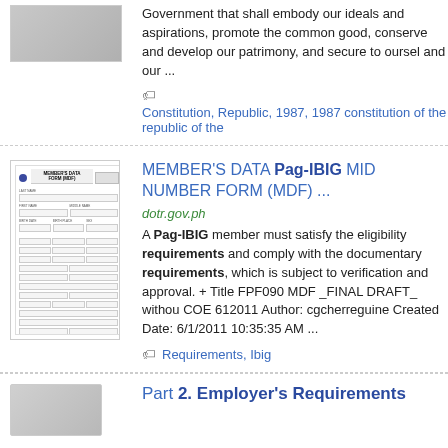Government that shall embody our ideals and aspirations, promote the common good, conserve and develop our patrimony, and secure to oursel and our ...
Constitution, Republic, 1987, 1987 constitution of the republic of the
MEMBER'S DATA Pag-IBIG MID NUMBER FORM (MDF) ...
dotr.gov.ph
A Pag-IBIG member must satisfy the eligibility requirements and comply with the documentary requirements, which is subject to verification and approval. + Title FPF090 MDF _FINAL DRAFT_ withou COE 612011 Author: cgcherreguine Created Date: 6/1/2011 10:35:35 AM ...
Requirements, Ibig
Part 2. Employer's Requirements